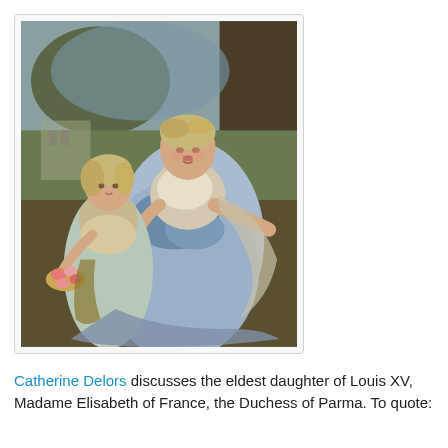[Figure (illustration): An 18th-century oil painting depicting two women in elegant blue and white dresses in an outdoor setting. The taller woman is seated and the smaller (younger) girl stands beside her holding flowers. Background shows trees and sky.]
Catherine Delors discusses the eldest daughter of Louis XV, Madame Elisabeth of France, the Duchess of Parma. To quote: